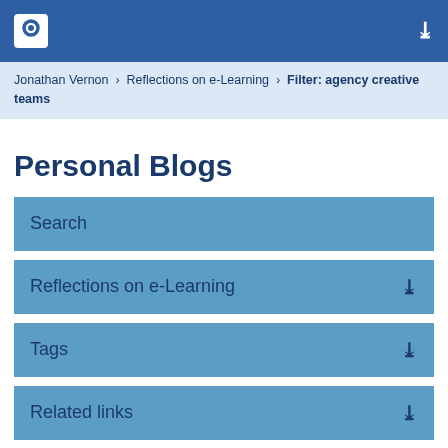Open University navigation header with logo and chevron
Jonathan Vernon > Reflections on e-Learning > Filter: agency creative teams
Personal Blogs
Search
Reflections on e-Learning
Tags
Related links
Blog usage